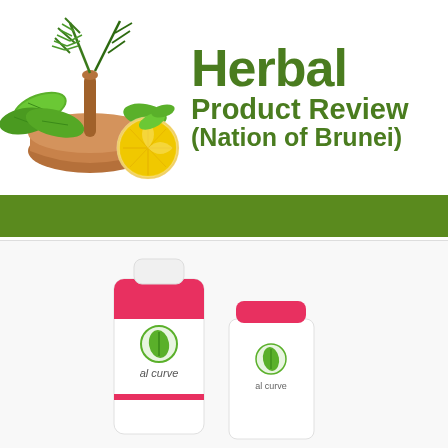[Figure (illustration): Header banner with mortar and pestle containing herbs (rosemary, bay leaves, green herbs) and a lemon slice on the left side, with bold green text 'Herbal Product Review (Nation of Brunei)' on the right]
[Figure (photo): Photo of 'al curve' herbal product — a white squeeze tube with pink/red accent and a white pill bottle with red cap, both branded with a green leaf logo]